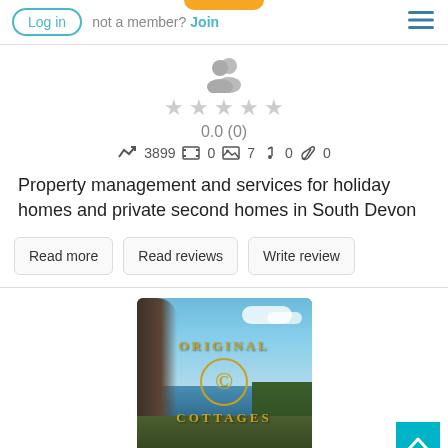Log in | not a member? Join
[Figure (screenshot): User profile icon (silhouette of two people) with 5 grey stars showing rating 0.0 (0) and stats: 3899 posts, 0 videos, 7 images, 0 audio, 0 attachments]
Property management and services for holiday homes and private second homes in South Devon
Read more   Read reviews   Write review
[Figure (logo): Original Cottages logo - coastal scene with rocks, sea and sky, overlaid with gold text reading ORIGINAL COTTAGES with a circular C emblem in gold]